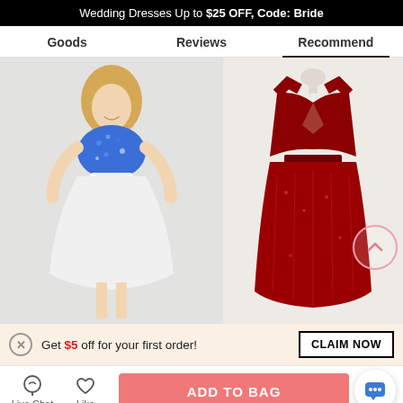Wedding Dresses Up to $25 OFF, Code: Bride
Goods
Reviews
Recommend
[Figure (photo): Woman wearing blue sequin top with white chiffon skirt dress]
[Figure (photo): Red sequin floor-length gown on mannequin]
Get $5 off for your first order!
CLAIM NOW
Live Chat
Like
ADD TO BAG